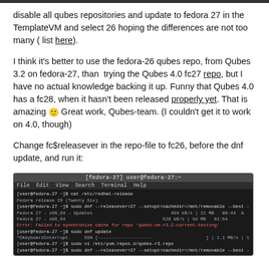disable all qubes repositories and update to fedora 27 in the TemplateVM and select 26 hoping the differences are not too many ( list here).
I think it's better to use the fedora-26 qubes repo, from Qubes 3.2 on fedora-27, than trying the Qubes 4.0 fc27 repo, but I have no actual knowledge backing it up. Funny that Qubes 4.0 has a fc28, when it hasn't been released properly yet. That is amazing 🙂 Great work, Qubes-team. (I couldn't get it to work on 4.0, though)
Change fc$releasever in the repo-file to fc26, before the dnf update, and run it:
[Figure (screenshot): Terminal screenshot showing a fedora-27 terminal session with commands including cat /etc/redhat-release, sudo dnf --releasever=27 --setopt commands, dnf update, vi /etc/yum.repos.d/qubes-r3.repo, and related output showing download speeds and errors about qubes-vm-r3.2-current-testing repo sync failure.]